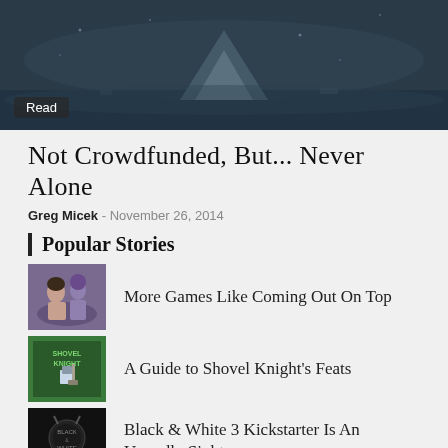[Figure (photo): Dark atmospheric hero image showing a mountain or iceberg in misty grey-blue water, with a 'Read' badge overlay in the bottom left.]
Not Crowdfunded, But... Never Alone
Greg Micek - November 26, 2014
Popular Stories
More Games Like Coming Out On Top
A Guide to Shovel Knight's Feats
Black & White 3 Kickstarter Is An Ungodly Sight
Download Your Perfect Doki Doki Literature Club Girlfriend with Mouthwash After Five